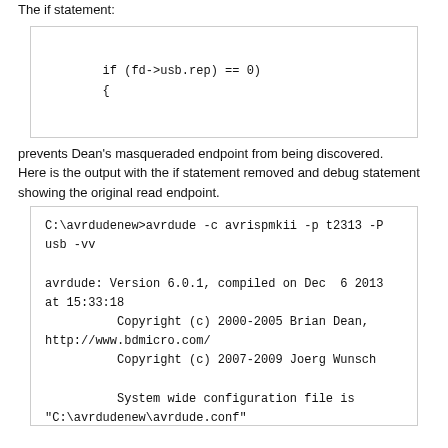The if statement:
prevents Dean's masqueraded endpoint from being discovered. Here is the output with the if statement removed and debug statement showing the original read endpoint.
C:\avrdudenew>avrdude -c avrispmkii -p t2313 -P usb -vv

avrdude: Version 6.0.1, compiled on Dec  6 2013
at 15:33:18
          Copyright (c) 2000-2005 Brian Dean,
http://www.bdmicro.com/
          Copyright (c) 2007-2009 Joerg Wunsch

          System wide configuration file is
"C:\avrdudenew\avrdude.conf"